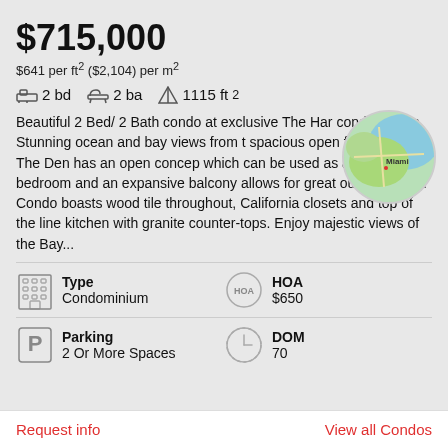$715,000
$641 per ft² ($2,104) per m²
🛏 2 bd   🛁 2 ba   📐 1115 ft²
Beautiful 2 Bed/ 2 Bath condo at exclusive The Har... condominium. Stunning ocean and bay views from the spacious open floor plan. The Den has an open concept which can be used as a Third bedroom and an expansive balcony allows for great outdoor living. Condo boasts wood tile throughout, California closets and top of the line kitchen with granite counter-tops. Enjoy majestic views of the Bay...
[Figure (map): Circular map thumbnail showing Miami area]
Type
Condominium
HOA
$650
Parking
2 Or More Spaces
DOM
70
Request info    View all Condos